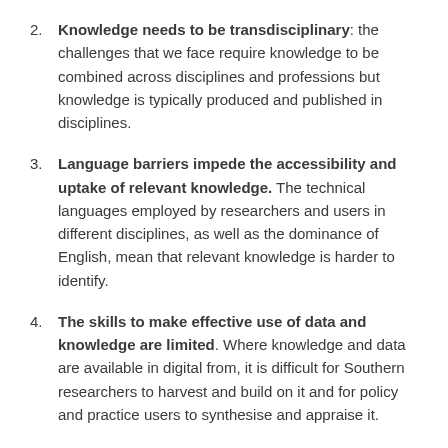2. Knowledge needs to be transdisciplinary: the challenges that we face require knowledge to be combined across disciplines and professions but knowledge is typically produced and published in disciplines.
3. Language barriers impede the accessibility and uptake of relevant knowledge. The technical languages employed by researchers and users in different disciplines, as well as the dominance of English, mean that relevant knowledge is harder to identify.
4. The skills to make effective use of data and knowledge are limited. Where knowledge and data are available in digital from, it is difficult for Southern researchers to harvest and build on it and for policy and practice users to synthesise and appraise it.